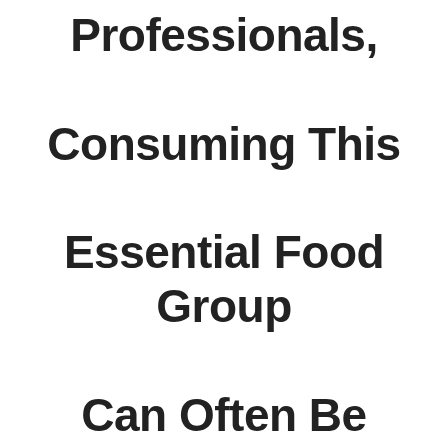Professionals, Consuming This Essential Food Group Can Often Be Quite Difficult.
The Most Useful